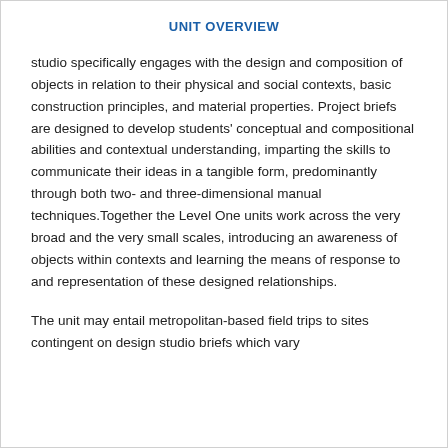UNIT OVERVIEW
studio specifically engages with the design and composition of objects in relation to their physical and social contexts, basic construction principles, and material properties. Project briefs are designed to develop students' conceptual and compositional abilities and contextual understanding, imparting the skills to communicate their ideas in a tangible form, predominantly through both two- and three-dimensional manual techniques.Together the Level One units work across the very broad and the very small scales, introducing an awareness of objects within contexts and learning the means of response to and representation of these designed relationships.
The unit may entail metropolitan-based field trips to sites contingent on design studio briefs which vary